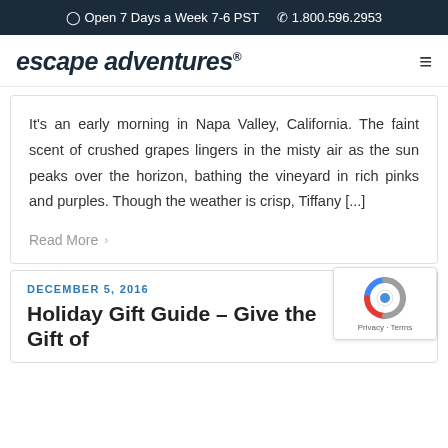Open 7 Days a Week 7-6 PST   1.800.596.2953
escape adventures®
It's an early morning in Napa Valley, California. The faint scent of crushed grapes lingers in the misty air as the sun peaks over the horizon, bathing the vineyard in rich pinks and purples. Though the weather is crisp, Tiffany [...]
Read More
DECEMBER 5, 2016
Holiday Gift Guide – Give the Gift of